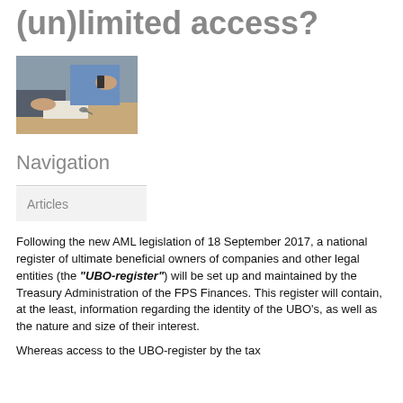(un)limited access?
[Figure (photo): Photo of two people at a desk, one reviewing documents, one holding a phone; car keys visible on the desk.]
Navigation
Articles
Following the new AML legislation of 18 September 2017, a national register of ultimate beneficial owners of companies and other legal entities (the “UBO-register”) will be set up and maintained by the Treasury Administration of the FPS Finances. This register will contain, at the least, information regarding the identity of the UBO’s, as well as the nature and size of their interest.
Whereas access to the UBO-register by the tax